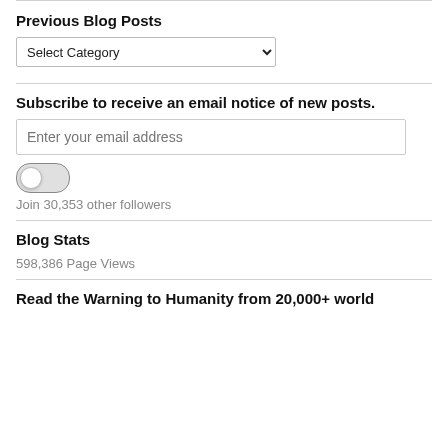Previous Blog Posts
[Figure (screenshot): Dropdown select box with label 'Select Category']
Subscribe to receive an email notice of new posts.
[Figure (screenshot): Text input field with placeholder 'Enter your email address']
[Figure (other): Toggle switch in off position]
Join 30,353 other followers
Blog Stats
598,386 Page Views
Read the Warning to Humanity from 20,000+ world